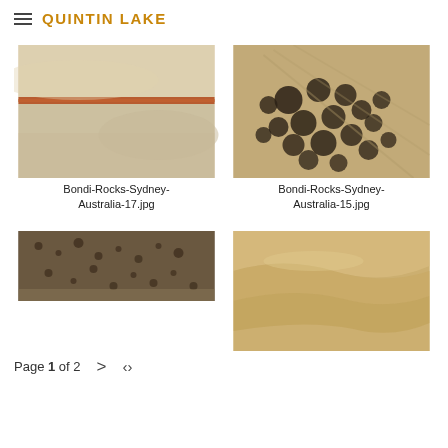QUINTIN LAKE
[Figure (photo): Close-up of sandstone rock with reddish orange horizontal stripe/crack running through smooth beige/cream coloured rock surface, Bondi Rocks Sydney Australia]
Bondi-Rocks-Sydney-Australia-17.jpg
[Figure (photo): Close-up of sandstone rock with honeycomb-like erosion pattern, tafoni weathering creating circular holes across beige/tan rock surface, Bondi Rocks Sydney Australia]
Bondi-Rocks-Sydney-Australia-15.jpg
[Figure (photo): Partial photo of dark textured rocky surface with small pits, partially cropped, bottom left of page]
Page 1 of 2
[Figure (photo): Partial photo of smooth sandy-coloured rock with flowing wave-like formations, bottom right of page]